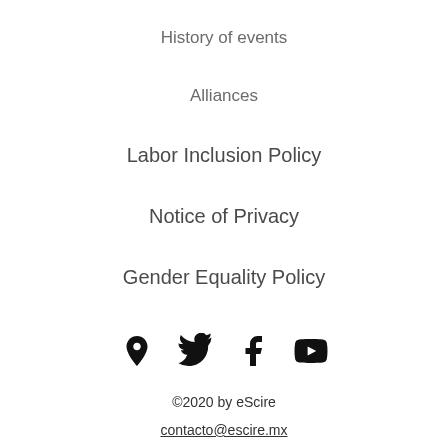History of events
Alliances
Labor Inclusion Policy
Notice of Privacy
Gender Equality Policy
[Figure (infographic): Social media icons: location pin, Twitter bird, Facebook f, YouTube play button]
©2020 by eScire
contacto@escire.mx